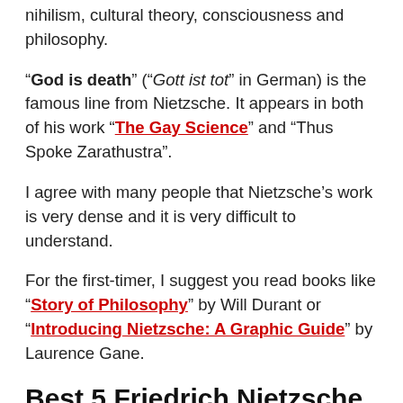nihilism, cultural theory, consciousness and philosophy.
“God is death” (“Gott ist tot” in German) is the famous line from Nietzsche. It appears in both of his work “The Gay Science” and “Thus Spoke Zarathustra”.
I agree with many people that Nietzsche’s work is very dense and it is very difficult to understand.
For the first-timer, I suggest you read books like “Story of Philosophy” by Will Durant or “Introducing Nietzsche: A Graphic Guide” by Laurence Gane.
Best 5 Friedrich Nietzsche